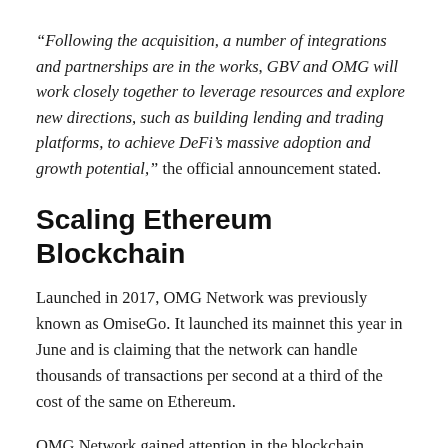“Following the acquisition, a number of integrations and partnerships are in the works, GBV and OMG will work closely together to leverage resources and explore new directions, such as building lending and trading platforms, to achieve DeFi’s massive adoption and growth potential,” the official announcement stated.
Scaling Ethereum Blockchain
Launched in 2017, OMG Network was previously known as OmiseGo. It launched its mainnet this year in June and is claiming that the network can handle thousands of transactions per second at a third of the cost of the same on Ethereum.
OMG Network gained attention in the blockchain industry